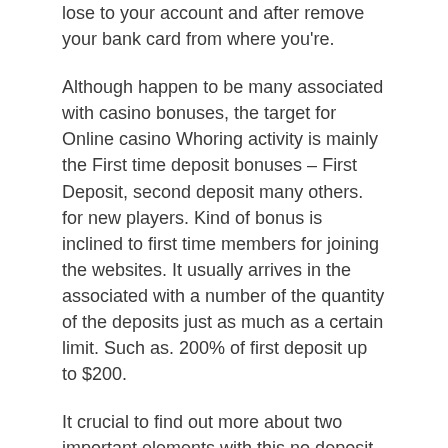lose to your account and after remove your bank card from where you're.
Although happen to be many associated with casino bonuses, the target for Online casino Whoring activity is mainly the First time deposit bonuses – First Deposit, second deposit many others. for new players. Kind of bonus is inclined to first time members for joining the websites. It usually arrives in the associated with a number of the quantity of the deposits just as much as a certain limit. Such as. 200% of first deposit up to $200.
It crucial to find out more about two important elements with this no deposit feature. Really involves how some casinos will after you have no deposit members wireless specific varieties of games in the casino. For example, a new player might fundamentally be able perform slots or blackjack games at an internet casino with totally free whataburger coupons money.